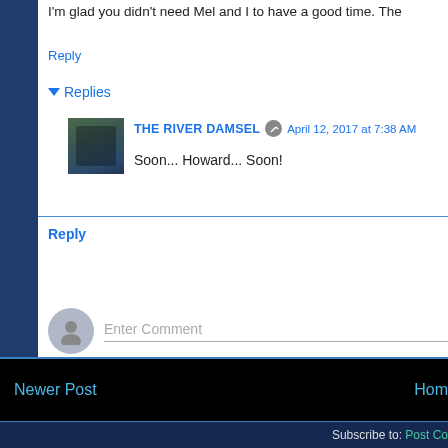I'm glad you didn't need Mel and I to have a good time. The
Reply
Replies
THE RIVER DAMSEL   April 12, 2017 at 7:38 AM
Soon... Howard... Soon!
Reply
Enter Comment
Newer Post
Home
Subscribe to: Post Co